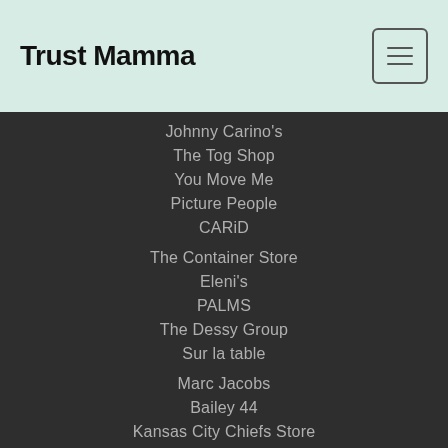Trust Mamma
Johnny Carino's
The Tog Shop
You Move Me
Picture People
CARiD
The Container Store
Eleni's
PALMS
The Dessy Group
Sur la table
Marc Jacobs
Bailey 44
Kansas City Chiefs Store
Planet Blue
Firehouse Subs